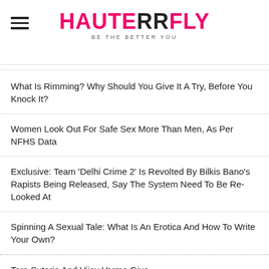HAUTERRFLY – BE THE BETTER YOU
What Is Rimming? Why Should You Give It A Try, Before You Knock It?
Women Look Out For Safe Sex More Than Men, As Per NFHS Data
Exclusive: Team 'Delhi Crime 2' Is Revolted By Bilkis Bano's Rapists Being Released, Say The System Need To Be Re-Looked At
Spinning A Sexual Tale: What Is An Erotica And How To Write Your Own?
Tara Sutaria And Vijay Varma Give